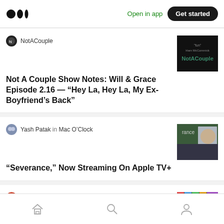Medium logo | Open in app | Get started
NotACouple
Not A Couple Show Notes: Will & Grace Episode 2.16 — “Hey La, Hey La, My Ex-Boyfriend’s Back”
Yash Patak in Mac O’Clock
“Severance,” Now Streaming On Apple TV+
Simran Grover
Millennials Accountable for Demise of Television?
Home | Search | Profile